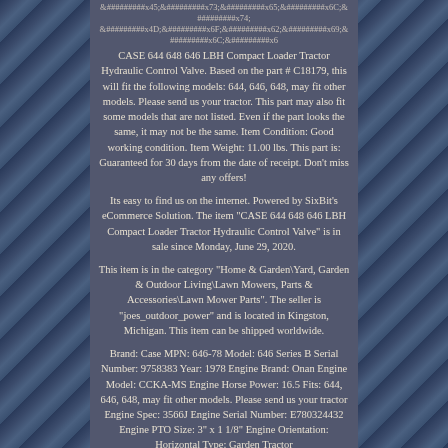&#x45;&#x73;&#x65;&#x6C;&#x74;&#x4D;&#x6F;&#x62;&#x69;&#x6C;&#x65;
CASE 644 648 646 LBH Compact Loader Tractor Hydraulic Control Valve. Based on the part # C18179, this will fit the following models: 644, 646, 648, may fit other models. Please send us your tractor. This part may also fit some models that are not listed. Even if the part looks the same, it may not be the same. Item Condition: Good working condition. Item Weight: 11.00 lbs. This part is: Guaranteed for 30 days from the date of receipt. Don't miss any offers!
Its easy to find us on the internet. Powered by SixBit's eCommerce Solution. The item "CASE 644 648 646 LBH Compact Loader Tractor Hydraulic Control Valve" is in sale since Monday, June 29, 2020.
This item is in the category "Home & Garden\Yard, Garden & Outdoor Living\Lawn Mowers, Parts & Accessories\Lawn Mower Parts". The seller is "joes_outdoor_power" and is located in Kingston, Michigan. This item can be shipped worldwide.
Brand: Case MPN: 646-78 Model: 646 Series B Serial Number: 9758383 Year: 1978 Engine Brand: Onan Engine Model: CCKA-MS Engine Horse Power: 16.5 Fits: 644, 646, 648, may fit other models. Please send us your tractor Engine Spec: 3566J Engine Serial Number: E780324432 Engine PTO Size: 3" x 1 1/8" Engine Orientation: Horizontal Type: Garden Tractor